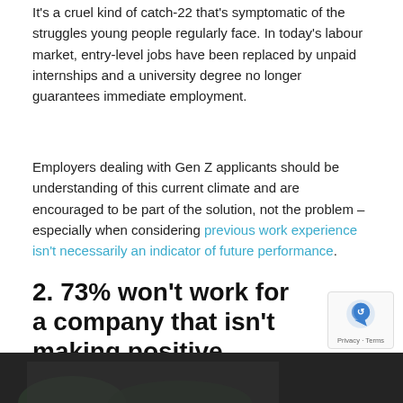It's a cruel kind of catch-22 that's symptomatic of the struggles young people regularly face. In today's labour market, entry-level jobs have been replaced by unpaid internships and a university degree no longer guarantees immediate employment.
Employers dealing with Gen Z applicants should be understanding of this current climate and are encouraged to be part of the solution, not the problem – especially when considering previous work experience isn't necessarily an indicator of future performance.
2. 73% won't work for a company that isn't making positive actions for the environment
[Figure (photo): Dark photo of a building exterior with trees, partially visible at the bottom of the page]